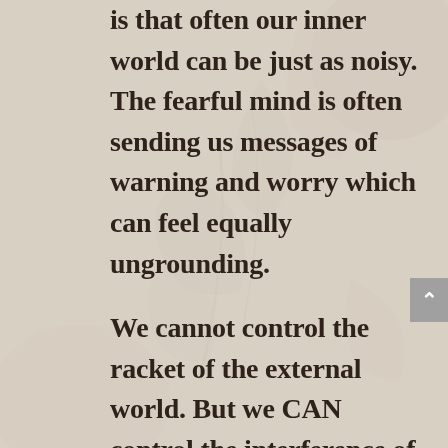is that often our inner world can be just as noisy. The fearful mind is often sending us messages of warning and worry which can feel equally ungrounding.

We cannot control the racket of the external world. But we CAN control the interference of the ego's constant chatter.

If you are trying to: